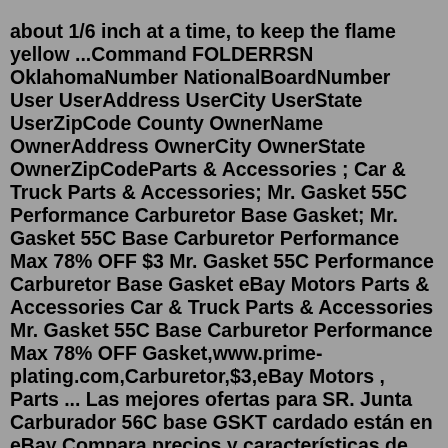about 1/6 inch at a time, to keep the flame yellow ...Command FOLDERRSN OklahomaNumber NationalBoardNumber User UserAddress UserCity UserState UserZipCode County OwnerName OwnerAddress OwnerCity OwnerState OwnerZipCodeParts & Accessories ; Car & Truck Parts & Accessories; Mr. Gasket 55C Performance Carburetor Base Gasket; Mr. Gasket 55C Base Carburetor Performance Max 78% OFF $3 Mr. Gasket 55C Performance Carburetor Base Gasket eBay Motors Parts & Accessories Car & Truck Parts & Accessories Mr. Gasket 55C Base Carburetor Performance Max 78% OFF Gasket,www.prime-plating.com,Carburetor,$3,eBay Motors , Parts ... Las mejores ofertas para SR. Junta Carburador 56C base GSKT cardado están en eBay Compara precios y características de productos nuevos y usados Muchos artículos con envío gratis! Get it by Thu, Dec 23 - Mon, Dec 27 from Corona, California. • New condition. • 30 day returns - Buyer pays return shipping. This item is for. Alaska are not part of the